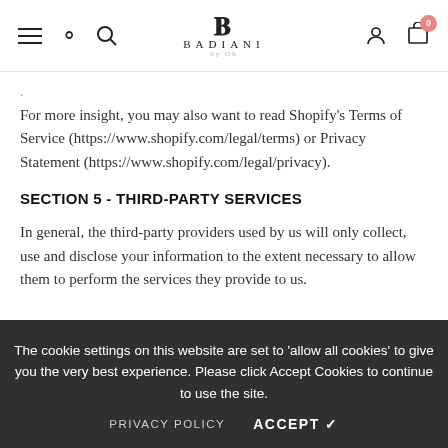BADIANI by Oh — navigation header with hamburger, search, logo, user, cart icons
For more insight, you may also want to read Shopify's Terms of Service (https://www.shopify.com/legal/terms) or Privacy Statement (https://www.shopify.com/legal/privacy).
SECTION 5 - THIRD-PARTY SERVICES
In general, the third-party providers used by us will only collect, use and disclose your information to the extent necessary to allow them to perform the services they provide to us.
However, certain third-party service providers, such as payment gateways and other payment transaction processors, have their own privacy policies in respect to the information we ar...
The cookie settings on this website are set to 'allow all cookies' to give you the very best experience. Please click Accept Cookies to continue to use the site.
PRIVACY POLICY   ACCEPT ✓